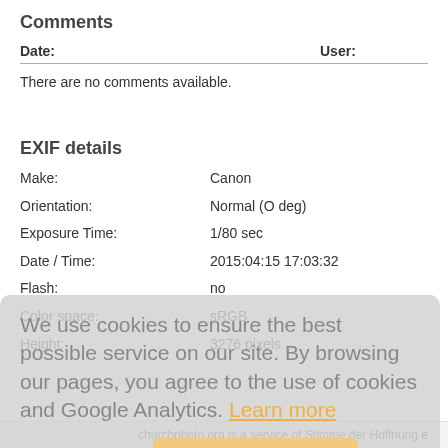Comments
| Date: | User: |
| --- | --- |
| There are no comments available. |  |
There are no comments available.
EXIF details
Make:    Canon
Orientation:    Normal (O deg)
Exposure Time:    1/80 sec
Date / Time:    2015:04:15 17:03:32
Flash:    no
Color space:    sRGB
Height:    3276 pixels
We use cookies to ensure the best possible service on our site. By browsing our pages, you agree to the use of cookies and Google Analytics.  Learn more
Back to category    Accept Cookies
churchphoto.org is a service of Stimme der Hoffnung e